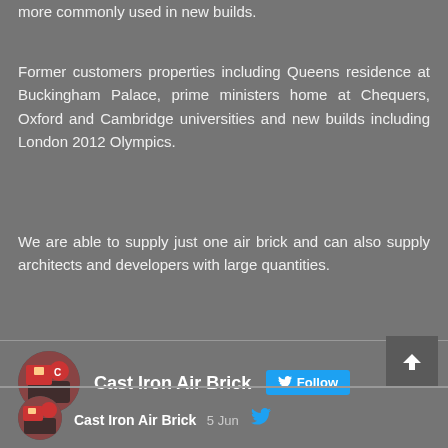more commonly used in new builds.
Former customers properties including Queens residence at Buckingham Palace, prime ministers home at Chequers, Oxford and Cambridge universities and new builds including London 2012 Olympics.
We are able to supply just one air brick and can also supply architects and developers with large quantities.
Cast Iron Air Brick  Follow
Cast Iron Air Brick  5 Jun